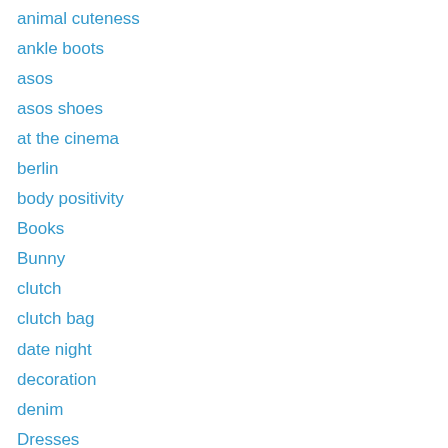animal cuteness
ankle boots
asos
asos shoes
at the cinema
berlin
body positivity
Books
Bunny
clutch
clutch bag
date night
decoration
denim
Dresses
erin condren
Events
Everything
express
fake fur